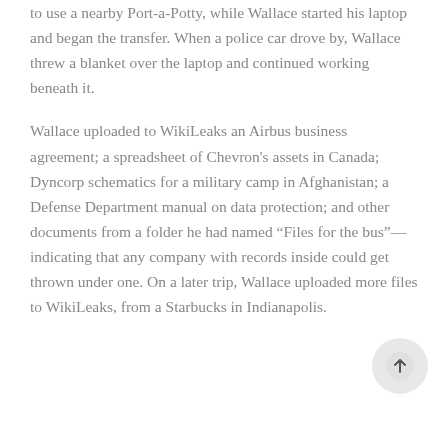to use a nearby Port-a-Potty, while Wallace started his laptop and began the transfer. When a police car drove by, Wallace threw a blanket over the laptop and continued working beneath it.
Wallace uploaded to WikiLeaks an Airbus business agreement; a spreadsheet of Chevron's assets in Canada; Dyncorp schematics for a military camp in Afghanistan; a Defense Department manual on data protection; and other documents from a folder he had named “Files for the bus”—indicating that any company with records inside could get thrown under one. On a later trip, Wallace uploaded more files to WikiLeaks, from a Starbucks in Indianapolis.